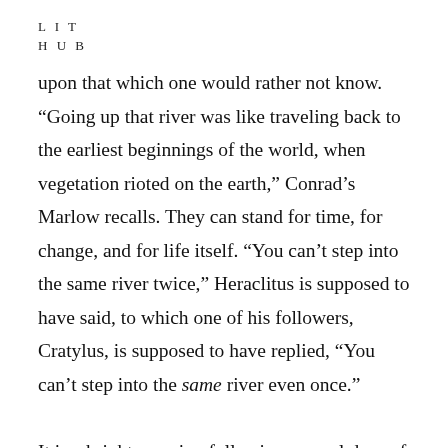L I T
H U B
upon that which one would rather not know. “Going up that river was like traveling back to the earliest beginnings of the world, when vegetation rioted on the earth,” Conrad’s Marlow recalls. They can stand for time, for change, and for life itself. “You can’t step into the same river twice,” Heraclitus is supposed to have said, to which one of his followers, Cratylus, is supposed to have replied, “You can’t step into the same river even once.”
It is a bright morning following several days of rain, and the not-quite-river I am riding is the